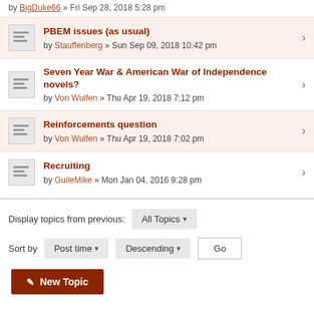by BigDuke66 » Fri Sep 28, 2018 5:28 pm
PBEM issues (as usual) by Stauffenberg » Sun Sep 09, 2018 10:42 pm
Seven Year War & American War of Independence novels? by Von Wulfen » Thu Apr 19, 2018 7:12 pm
Reinforcements question by Von Wulfen » Thu Apr 19, 2018 7:02 pm
Recruiting by GuileMike » Mon Jan 04, 2016 9:28 pm
Display topics from previous: All Topics
Sort by Post time Descending Go
New Topic